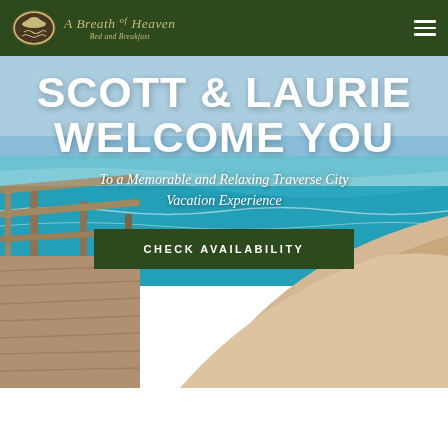A Breath of Heaven Bed and Breakfast
[Figure (photo): A coastal beach scene with wooden boardwalk railing on the left, turquoise ocean water in the middle, and sandy dunes on the right]
SCOTT & LAURIE WELCOME YOU
To a Memorable and Relaxing Traverse City Vacation Experience
CHECK AVAILABILITY